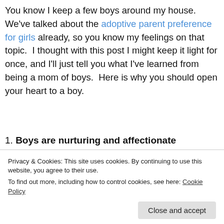You know I keep a few boys around my house.  We've talked about the adoptive parent preference for girls already, so you know my feelings on that topic.  I thought with this post I might keep it light for once, and I'll just tell you what I've learned from being a mom of boys.  Here is why you should open your heart to a boy.
1. Boys are nurturing and affectionate
[Figure (photo): A young boy leaning over a wooden desk or table, seen from behind/side, with papers and objects on the table, warm brown tones]
Privacy & Cookies: This site uses cookies. By continuing to use this website, you agree to their use. To find out more, including how to control cookies, see here: Cookie Policy